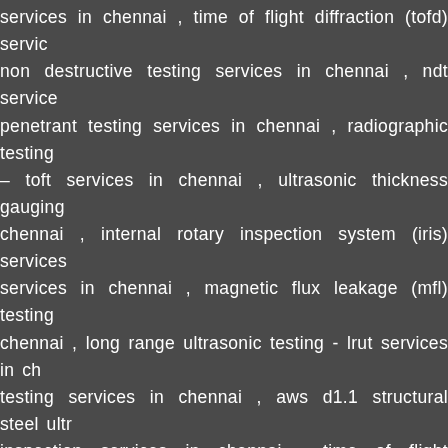services in chennai , time of flight diffraction (tofd) services non destructive testing services in chennai , ndt services penetrant testing services in chennai , radiographic testing – toft services in chennai , ultrasonic thickness gauging chennai , internal rotary inspection system (iris) services services in chennai , magnetic flux leakage (mfl) testing chennai , long range ultrasonic testing - lrut services in ch testing services in chennai , aws d1.1 structural steel ultr inspection services in chennai , time of flight diffraction (t testing services in chennai , radiographic testing service inspection and field services in chennai , chemical testing